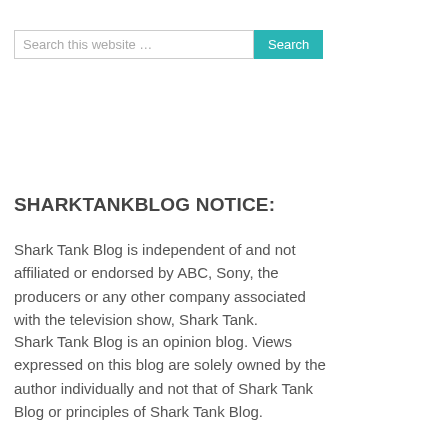Search this website …
SHARKTANKBLOG NOTICE:
Shark Tank Blog is independent of and not affiliated or endorsed by ABC, Sony, the producers or any other company associated with the television show, Shark Tank.
Shark Tank Blog is an opinion blog. Views expressed on this blog are solely owned by the author individually and not that of Shark Tank Blog or principles of Shark Tank Blog.